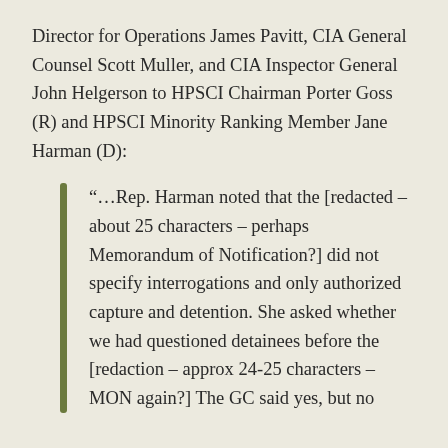Director for Operations James Pavitt, CIA General Counsel Scott Muller, and CIA Inspector General John Helgerson to HPSCI Chairman Porter Goss (R) and HPSCI Minority Ranking Member Jane Harman (D):
“…Rep. Harman noted that the [redacted – about 25 characters – perhaps Memorandum of Notification?] did not specify interrogations and only authorized capture and detention. She asked whether we had questioned detainees before the [redaction – approx 24-25 characters – MON again?] The GC said yes, but no